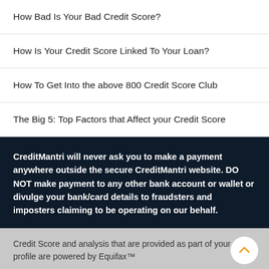How Bad Is Your Bad Credit Score?
How Is Your Credit Score Linked To Your Loan?
How To Get Into the above 800 Credit Score Club
The Big 5: Top Factors that Affect your Credit Score
CreditMantri will never ask you to make a payment anywhere outside the secure CreditMantri website. DO NOT make payment to any other bank account or wallet or divulge your bank/card details to fraudsters and imposters claiming to be operating on our behalf.
Credit Score and analysis that are provided as part of your credit profile are powered by Equifax™